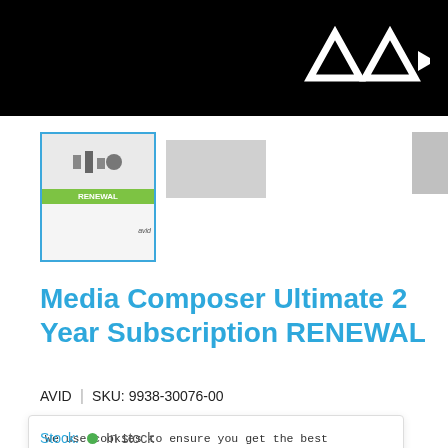[Figure (logo): Avid logo in white on black header bar]
[Figure (photo): Product thumbnail images: main selected thumbnail with blue border showing Media Composer product, secondary thumbnail grayed out, and partial right thumbnail]
Media Composer Ultimate 2 Year Subscription RENEWAL
AVID | SKU: 9938-30076-00
We use cookies to ensure you get the best experience n our website. Learn more
Got it
Stock: In stock